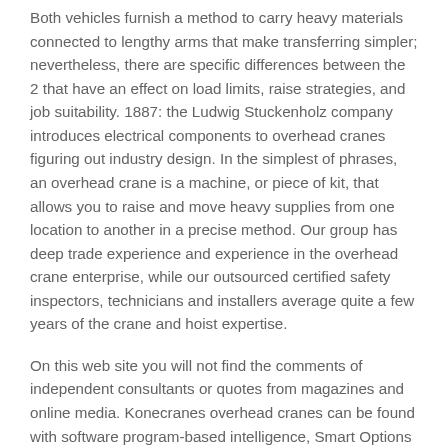Both vehicles furnish a method to carry heavy materials connected to lengthy arms that make transferring simpler; nevertheless, there are specific differences between the 2 that have an effect on load limits, raise strategies, and job suitability. 1887: the Ludwig Stuckenholz company introduces electrical components to overhead cranes figuring out industry design. In the simplest of phrases, an overhead crane is a machine, or piece of kit, that allows you to raise and move heavy supplies from one location to another in a precise method. Our group has deep trade experience and experience in the overhead crane enterprise, while our outsourced certified safety inspectors, technicians and installers average quite a few years of the crane and hoist expertise.
On this web site you will not find the comments of independent consultants or quotes from magazines and online media. Konecranes overhead cranes can be found with software program-based intelligence, Smart Options , which supplies you management over material dealing with in your manufacturing course of. Different overhead crane